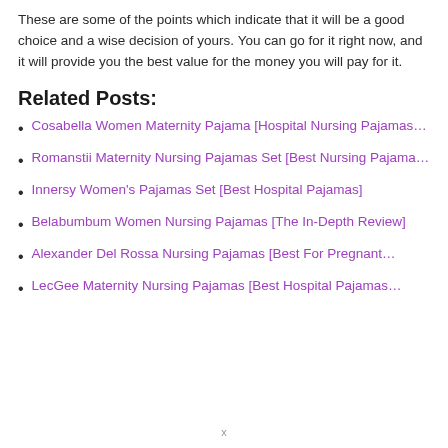These are some of the points which indicate that it will be a good choice and a wise decision of yours. You can go for it right now, and it will provide you the best value for the money you will pay for it.
Related Posts:
Cosabella Women Maternity Pajama [Hospital Nursing Pajamas…
Romanstii Maternity Nursing Pajamas Set [Best Nursing Pajama…
Innersy Women's Pajamas Set [Best Hospital Pajamas]
Belabumbum Women Nursing Pajamas [The In-Depth Review]
Alexander Del Rossa Nursing Pajamas [Best For Pregnant…
LecGee Maternity Nursing Pajamas [Best Hospital Pajamas…
x